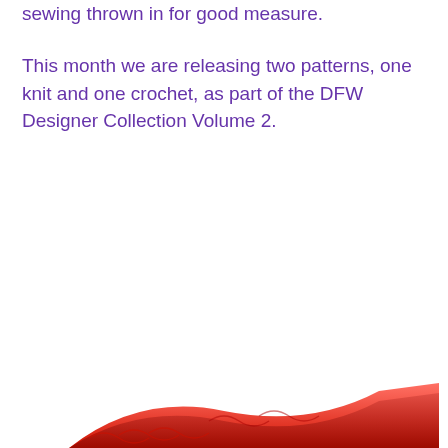sewing thrown in for good measure.
This month we are releasing two patterns, one knit and one crochet, as part of the DFW Designer Collection Volume 2.
[Figure (photo): Partial view of a red knitted or crocheted textile/garment at the bottom of the page, partially cropped.]